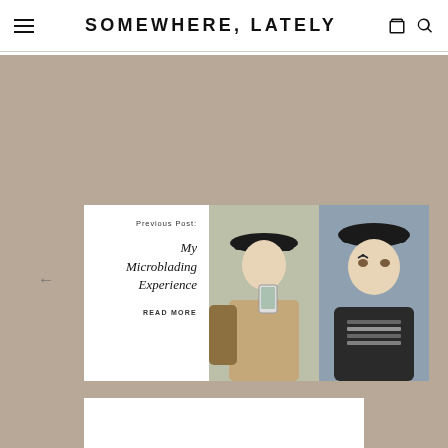SOMEWHERE, LATELY
Previous Post:

My Microblading Experience

READ MORE
[Figure (photo): Two side-by-side photos of a woman wearing a black baseball cap. Left photo is a mirror selfie showing the woman in a patterned sweater. Right photo shows the woman in a car wearing a striped top.]
← (navigation arrow)